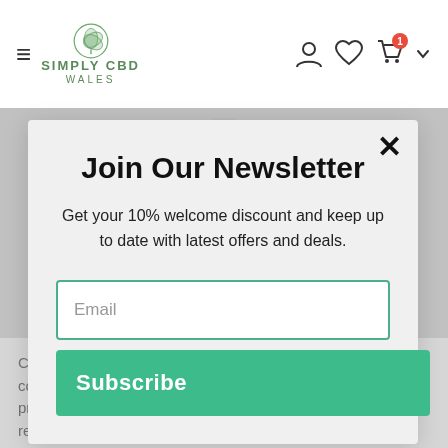[Figure (screenshot): Simply CBD Wales website navbar with hamburger menu, logo with cannabis leaf icon, and icons for user account, wishlist, cart (with badge showing 1), and dropdown arrow]
Join Our Newsletter
Get your 10% welcome discount and keep up to date with latest offers and deals.
Email
Subscribe
CBD products available today. Simply CBD Wales concentrates on quality control ensuring that all of our products are of the highest standards, our formulas are regularly tested for potency and